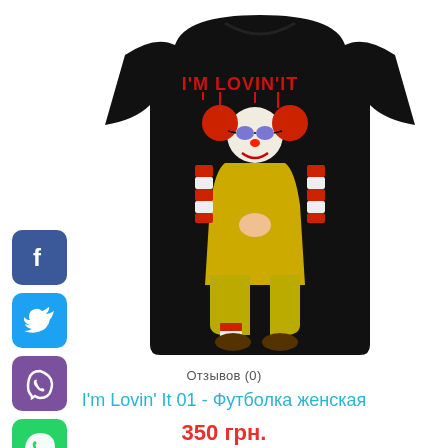[Figure (photo): Black women's t-shirt with a clown character graphic and 'I'M LOVIN' IT' text in red dripping horror font on the front]
[Figure (infographic): Social media sharing icons column on the left: Facebook (blue), Twitter (blue), Viber (purple), WhatsApp (green), Pinterest (red)]
Отзывов (0)
I'm Lovin' It 01 - Футболка женская
350 грн.